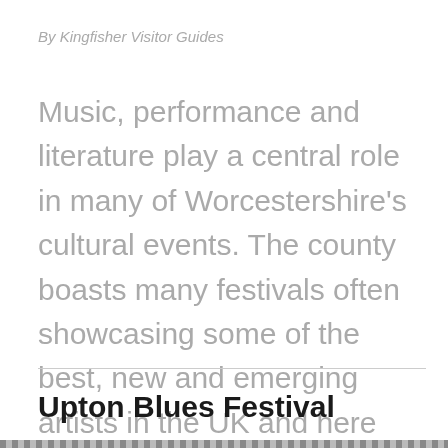By Kingfisher Visitor Guides
Music, performance and literature play a central role in many of Worcestershire's cultural events. The county boasts many festivals often showcasing some of the best, new and emerging artists in the UK and here are some of the best ones to visit.
Upton Blues Festival